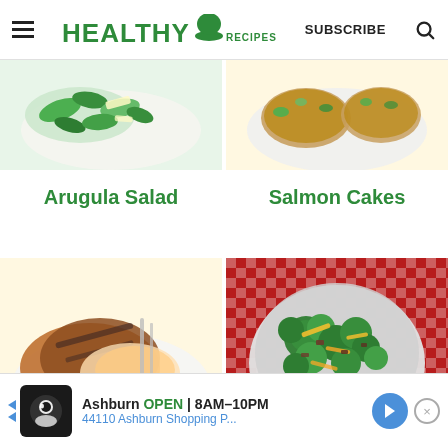HEALTHY RECIPES | SUBSCRIBE
[Figure (photo): Arugula salad with greens and parmesan on a white plate]
[Figure (photo): Salmon cakes with herbs on a plate]
Arugula Salad
Salmon Cakes
[Figure (photo): Grilled chicken sliced on a plate with parsley]
[Figure (photo): Broccoli salad with cheese and bacon in a white bowl on red checkered cloth]
Ashburn OPEN 8AM-10PM 44110 Ashburn Shopping P...